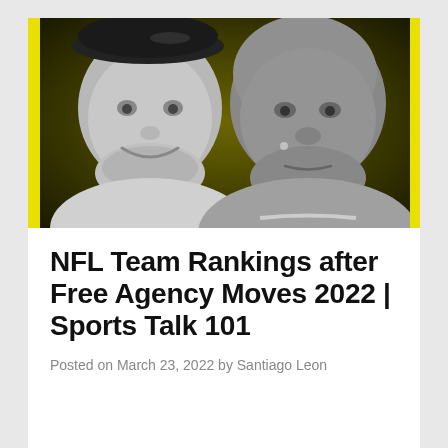[Figure (photo): Photo of two men against a yellow-green dark background. Left man is white, wearing a black baseball cap, smiling. Right man is Black, bald, looking to the left. Image is black and white with a yellow border on left and right sides.]
NFL Team Rankings after Free Agency Moves 2022 | Sports Talk 101
Posted on March 23, 2022 by Santiago Leon